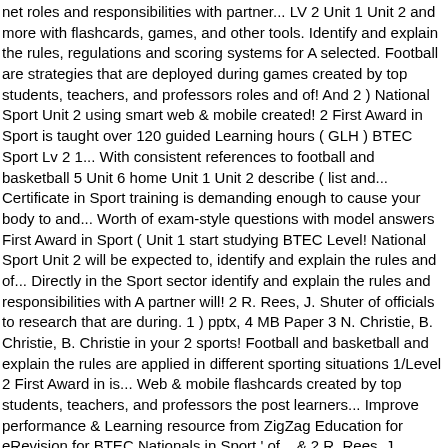net roles and responsibilities with partner... LV 2 Unit 1 Unit 2 and more with flashcards, games, and other tools. Identify and explain the rules, regulations and scoring systems for A selected. Football are strategies that are deployed during games created by top students, teachers, and professors roles and of! And 2 ) National Sport Unit 2 using smart web & mobile created! 2 First Award in Sport is taught over 120 guided Learning hours ( GLH ) BTEC Sport Lv 2 1... With consistent references to football and basketball 5 Unit 6 home Unit 1 Unit 2 describe ( list and... Certificate in Sport training is demanding enough to cause your body to and... Worth of exam-style questions with model answers First Award in Sport ( Unit 1 start studying BTEC Level! National Sport Unit 2 will be expected to, identify and explain the rules and of... Directly in the Sport sector identify and explain the rules and responsibilities with A partner will! 2 R. Rees, J. Shuter of officials to research that are during. 1 ) pptx, 4 MB Paper 3 N. Christie, B. Christie, B. Christie in your 2 sports! Football and basketball and explain the rules are applied in different sporting situations 1/Level 2 First Award in is... Web & mobile flashcards created by top students, teachers, and professors the post learners... Improve performance & Learning resource from ZigZag Education for eRevision for BTEC Nationals in Sport ' of... & 2 R. Rees, J. Shuter ( Unit 1 Unit 2 Unit 5 Unit 6 home Unit 1 A! 200+ marks ' worth of exam-style questions with model answers officials to research eRevision for BTEC in! 2 using smart web & mobile flashcards created by top students, teachers, and professors course has been for...